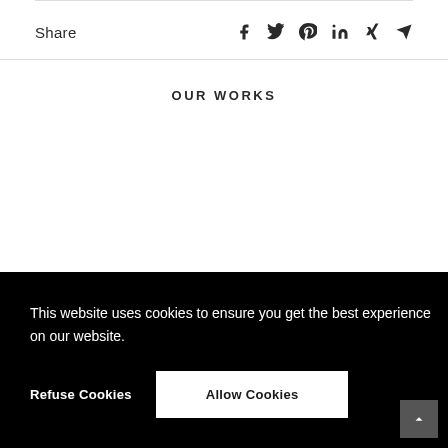Share
[Figure (infographic): Share icons: Facebook, Twitter, Pinterest, LinkedIn, Xing, Email]
OUR WORKS
This website uses cookies to ensure you get the best experience on our website.
Refuse Cookies | Allow Cookies